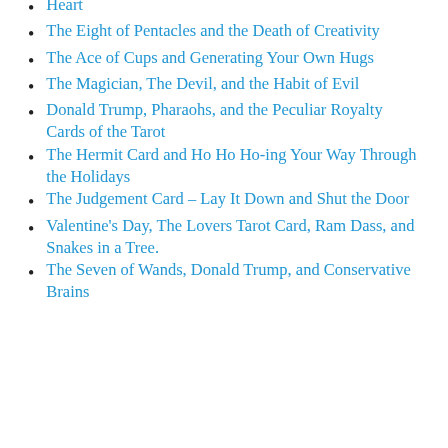Heart
The Eight of Pentacles and the Death of Creativity
The Ace of Cups and Generating Your Own Hugs
The Magician, The Devil, and the Habit of Evil
Donald Trump, Pharaohs, and the Peculiar Royalty Cards of the Tarot
The Hermit Card and Ho Ho Ho-ing Your Way Through the Holidays
The Judgement Card – Lay It Down and Shut the Door
Valentine's Day, The Lovers Tarot Card, Ram Dass, and Snakes in a Tree.
The Seven of Wands, Donald Trump, and Conservative Brains